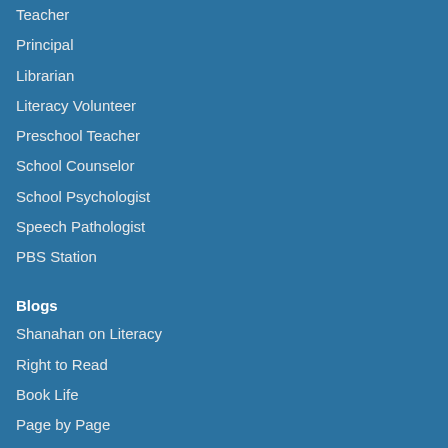Teacher
Principal
Librarian
Literacy Volunteer
Preschool Teacher
School Counselor
School Psychologist
Speech Pathologist
PBS Station
Blogs
Shanahan on Literacy
Right to Read
Book Life
Page by Page
Reading Without Walls